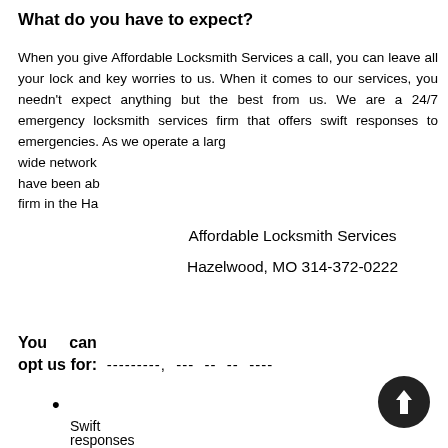What do you have to expect?
When you give Affordable Locksmith Services a call, you can leave all your lock and key worries to us. When it comes to our services, you needn't expect anything but the best from us. We are a 24/7 emergency locksmith services firm that offers swift responses to emergencies. As we operate a large wide network have been able firm in the Ha
Affordable Locksmith Services
Hazelwood, MO 314-372-0222
You can opt us for: ---------, --- -- -- ----
Swift
responses